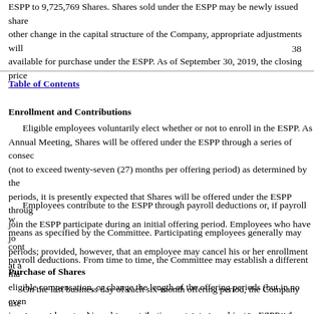ESPP to 9,725,769 Shares. Shares sold under the ESPP may be newly issued shares. In the event of a stock split or other change in the capital structure of the Company, appropriate adjustments will be made in the number of Shares available for purchase under the ESPP. As of September 30, 2019, the closing price
38
Table of Contents
Enrollment and Contributions
Eligible employees voluntarily elect whether or not to enroll in the ESPP. As of the date of the Annual Meeting, Shares will be offered under the ESPP through a series of consecutive offering periods (not to exceed twenty-seven (27) months per offering period) as determined by the Committee. For initial periods, it is presently expected that Shares will be offered under the ESPP through employees who join the ESPP participate during an initial offering period. Employees who have joined the ESPP in prior periods; provided, however, that an employee may cancel his or her enrollment at a
Employees contribute to the ESPP through payroll deductions or, if payroll withholding is not available, means as specified by the Committee. Participating employees generally may contribute 1% to 15% of eligible payroll deductions. From time to time, the Committee may establish a different maximum percentage of eligible compensation, or change the length of the offering periods (but in no event to exceed 27 months), or increase or decrease his or her contribution percentage, subject to ESPP rules.
Purchase of Shares
On the last business day of each six-month offering period, the Company uses accumulated contributions to purchase Shares for the employee. The price of the Shares purchased will be determined